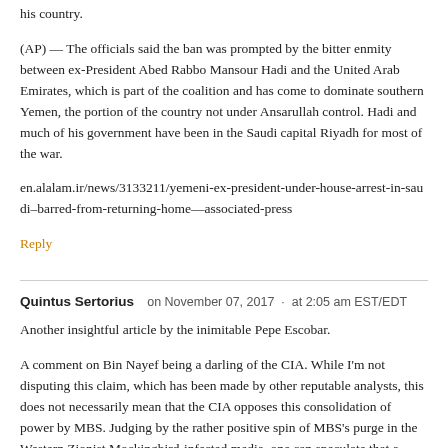his country.
(AP) — The officials said the ban was prompted by the bitter enmity between ex-President Abed Rabbo Mansour Hadi and the United Arab Emirates, which is part of the coalition and has come to dominate southern Yemen, the portion of the country not under Ansarullah control. Hadi and much of his government have been in the Saudi capital Riyadh for most of the war.
en.alalam.ir/news/3133211/yemeni-ex-president-under-house-arrest-in-saudi–barred-from-returning-home—associated-press
Reply
Quintus Sertorius   on November 07, 2017 · at 2:05 am EST/EDT
Another insightful article by the inimitable Pepe Escobar.
A comment on Bin Nayef being a darling of the CIA. While I'm not disputing this claim, which has been made by other reputable analysts, this does not necessarily mean that the CIA opposes this consolidation of power by MBS. Judging by the rather positive spin of MBS's purge in the Western Zionist Mockingbird-infected media, one can speculate that a Mossad-led Israel-first